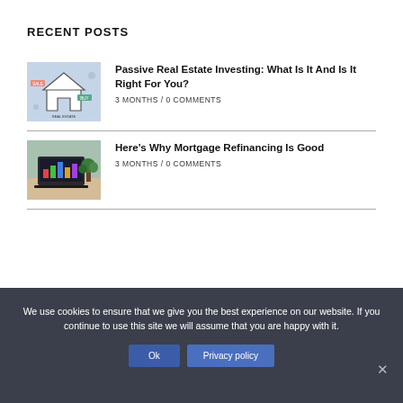RECENT POSTS
[Figure (photo): Real estate investing concept image showing a house icon with SALE and BUY labels, surrounded by financial icons]
Passive Real Estate Investing: What Is It And Is It Right For You?
3 MONTHS / 0 COMMENTS
[Figure (photo): Laptop showing colorful charts on screen, placed on a desk with a plant in the background]
Here’s Why Mortgage Refinancing Is Good
3 MONTHS / 0 COMMENTS
We use cookies to ensure that we give you the best experience on our website. If you continue to use this site we will assume that you are happy with it.